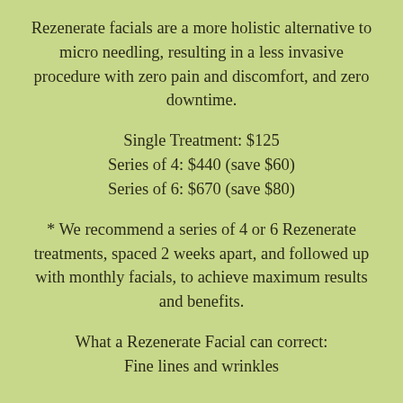Rezenerate facials are a more holistic alternative to micro needling, resulting in a less invasive procedure with zero pain and discomfort, and zero downtime.
Single Treatment: $125
Series of 4: $440 (save $60)
Series of 6: $670 (save $80)
* We recommend a series of 4 or 6 Rezenerate treatments, spaced 2 weeks apart, and followed up with monthly facials, to achieve maximum results and benefits.
What a Rezenerate Facial can correct:
Fine lines and wrinkles